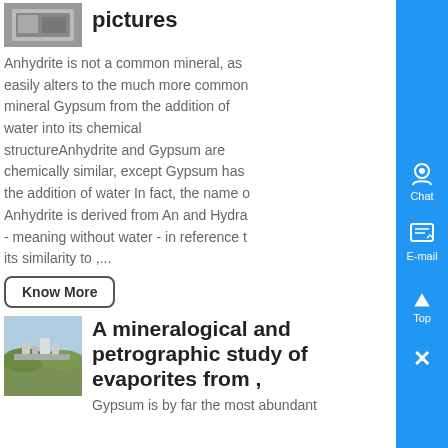[Figure (photo): Small thumbnail of a mineral/rock sample at top left]
pictures
Anhydrite is not a common mineral, as easily alters to the much more common mineral Gypsum from the addition of water into its chemical structureAnhydrite and Gypsum are chemically similar, except Gypsum has the addition of water In fact, the name of Anhydrite is derived from An and Hydra - meaning without water - in reference to its similarity to ,...
Know More
[Figure (photo): Industrial evaporation facility or mining plant with machinery and structures in a rocky landscape]
A mineralogical and petrographic study of evaporites from ,
Gypsum is by far the most abundant